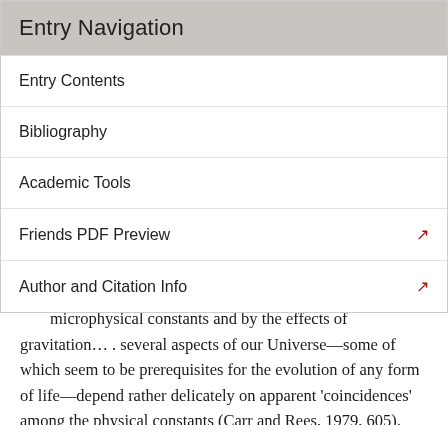Entry Navigation
Entry Contents
Bibliography
Academic Tools
Friends PDF Preview
Author and Citation Info
microphysical constants and by the effects of gravitation… . several aspects of our Universe—some of which seem to be prerequisites for the evolution of any form of life—depend rather delicately on apparent 'coincidences' among the physical constants (Carr and Rees, 1979, 605).
For example, if the force of gravity were even slightly stronger, all stars would be blue giants; if even slightly weaker, all would be red dwarfs; in neither case could life have developed (Carter 1979, 72). The same goes for the weak and strong nuclear forces; if either had been even